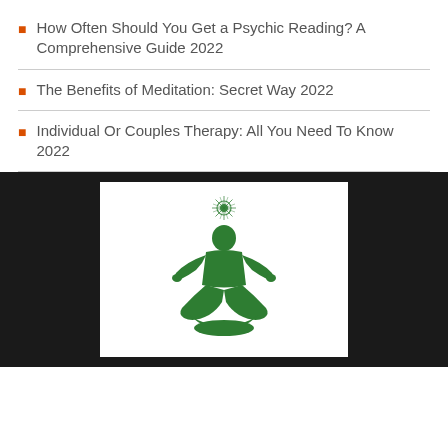How Often Should You Get a Psychic Reading? A Comprehensive Guide 2022
The Benefits of Meditation: Secret Way 2022
Individual Or Couples Therapy: All You Need To Know 2022
[Figure (illustration): Green silhouette of a person in lotus meditation pose with an energy burst/star above their head, on a white background within a dark/black panel.]